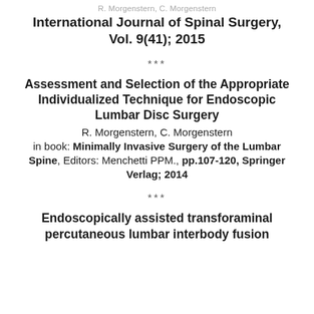R. Morgenstern, C. Morgenstern
International Journal of Spinal Surgery, Vol. 9(41); 2015
***
Assessment and Selection of the Appropriate Individualized Technique for Endoscopic Lumbar Disc Surgery
R. Morgenstern, C. Morgenstern
in book: Minimally Invasive Surgery of the Lumbar Spine, Editors: Menchetti PPM., pp.107-120, Springer Verlag; 2014
***
Endoscopically assisted transforaminal percutaneous lumbar interbody fusion